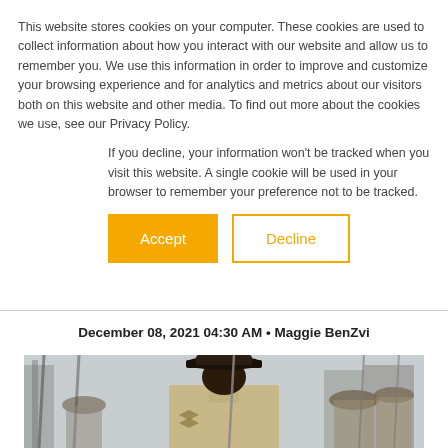This website stores cookies on your computer. These cookies are used to collect information about how you interact with our website and allow us to remember you. We use this information in order to improve and customize your browsing experience and for analytics and metrics about our visitors both on this website and other media. To find out more about the cookies we use, see our Privacy Policy.
If you decline, your information won't be tracked when you visit this website. A single cookie will be used in your browser to remember your preference not to be tracked.
Accept | Decline
December 08, 2021 04:30 AM • Maggie BenZvi
[Figure (photo): Military personnel from behind wearing a campaign cover hat and tan uniform, with other soldiers visible in the background holding rifles]